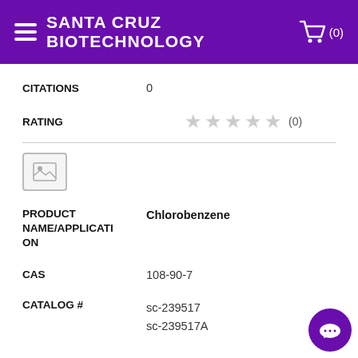SANTA CRUZ BIOTECHNOLOGY
| Field | Value |
| --- | --- |
| CITATIONS | 0 |
| RATING | ★★★★★ (0) |
| PRODUCT NAME/APPLICATION | Chlorobenzene |
| CAS | 108-90-7 |
| CATALOG # | sc-239517
sc-239517A |